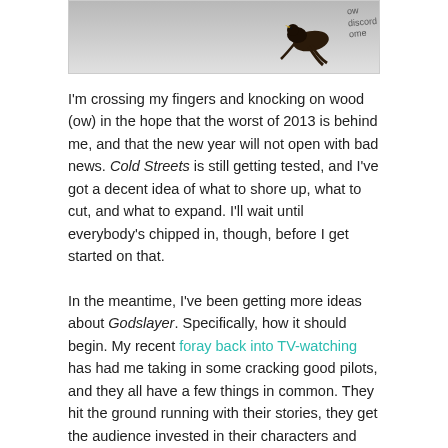[Figure (photo): Partial photo showing a bird (black/dark colored) against a light background, with partially visible text overlay in the top right corner reading 'ow discord one']
I'm crossing my fingers and knocking on wood (ow) in the hope that the worst of 2013 is behind me, and that the new year will not open with bad news. Cold Streets is still getting tested, and I've got a decent idea of what to shore up, what to cut, and what to expand. I'll wait until everybody's chipped in, though, before I get started on that.
In the meantime, I've been getting more ideas about Godslayer. Specifically, how it should begin. My recent foray back into TV-watching has had me taking in some cracking good pilots, and they all have a few things in common. They hit the ground running with their stories, they get the audience invested in their characters and worlds pretty quickly, and they don't over complicate